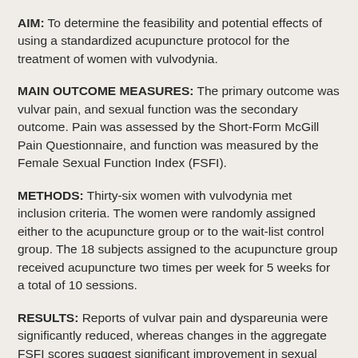AIM: To determine the feasibility and potential effects of using a standardized acupuncture protocol for the treatment of women with vulvodynia.
MAIN OUTCOME MEASURES: The primary outcome was vulvar pain, and sexual function was the secondary outcome. Pain was assessed by the Short-Form McGill Pain Questionnaire, and function was measured by the Female Sexual Function Index (FSFI).
METHODS: Thirty-six women with vulvodynia met inclusion criteria. The women were randomly assigned either to the acupuncture group or to the wait-list control group. The 18 subjects assigned to the acupuncture group received acupuncture two times per week for 5 weeks for a total of 10 sessions.
RESULTS: Reports of vulvar pain and dyspareunia were significantly reduced, whereas changes in the aggregate FSFI scores suggest significant improvement in sexual functioning in those receiving acupuncture vs. those who did not. Acupuncture did not significantly increase sexual desire, sexual